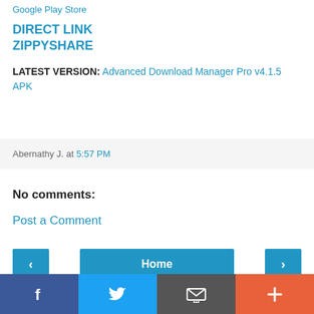Google Play Store
DIRECT LINK
ZIPPYSHARE
LATEST VERSION: Advanced Download Manager Pro v4.1.5 APK
Abernathy J. at 5:57 PM
No comments:
Post a Comment
Home navigation bar with previous and next buttons
Social bar: Facebook, Twitter, Email, Plus